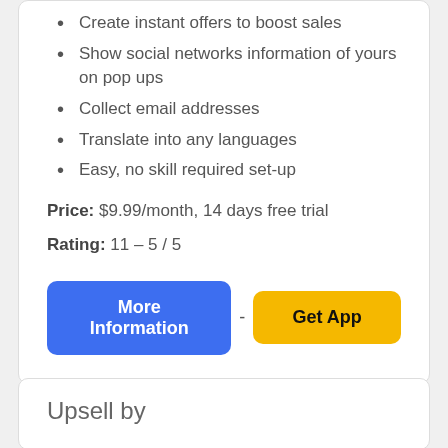Create instant offers to boost sales
Show social networks information of yours on pop ups
Collect email addresses
Translate into any languages
Easy, no skill required set-up
Price: $9.99/month, 14 days free trial
Rating: 11 - 5 / 5
More Information - Get App
Upsell by